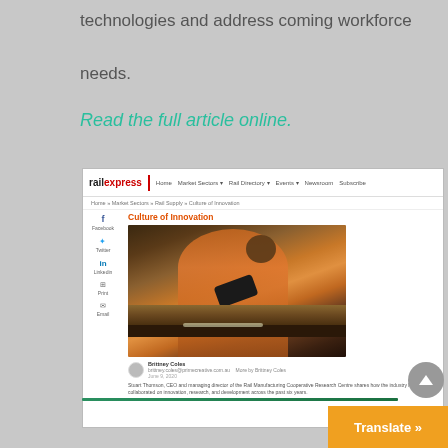technologies and address coming workforce needs.
Read the full article online.
[Figure (screenshot): Screenshot of railexpress website showing article titled 'Culture of Innovation' with a photo of a rail worker in orange high-vis clothing inspecting underneath a train, author Brittney Coles, and a brief description about Stuart Thomson CEO of Rail Manufacturing Cooperative Research Centre.]